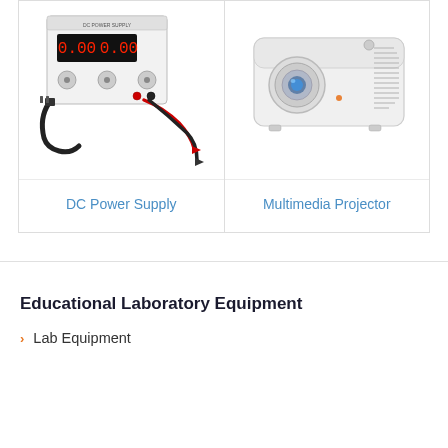[Figure (photo): DC Power Supply device with power cables and alligator clip test leads]
DC Power Supply
[Figure (photo): White multimedia projector with blue lens light]
Multimedia Projector
Educational Laboratory Equipment
Lab Equipment